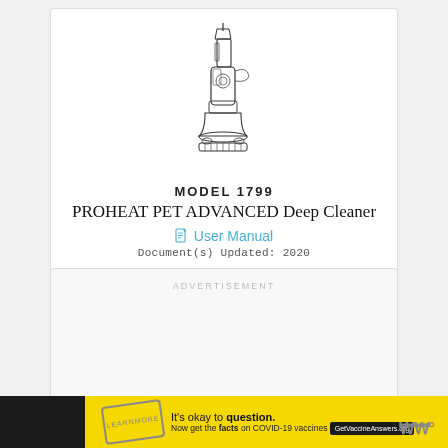[Figure (illustration): Line drawing illustration of the Bissell PROHEAT PET ADVANCED Deep Cleaner carpet cleaning machine, Model 1799, shown from the front view with handle extended.]
MODEL 1799
PROHEAT PET ADVANCED Deep Cleaner
User Manual
Document(s) Updated: 2020
ADVERTISEMENT